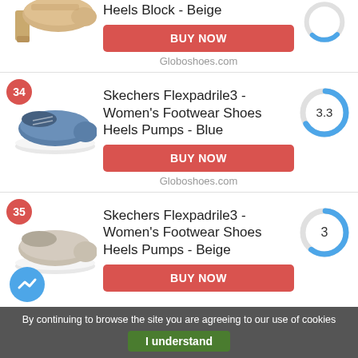Heels Block - Beige
BUY NOW
Globoshoes.com
[Figure (photo): Beige high-heel block shoe]
[Figure (donut-chart): Score ring showing partial score (top portion cut off)]
34
[Figure (photo): Blue slip-on casual shoe (Skechers Flexpadrile3)]
Skechers Flexpadrile3 - Women's Footwear Shoes Heels Pumps - Blue
[Figure (donut-chart): Score ring showing 3.3 out of 5]
BUY NOW
Globoshoes.com
35
[Figure (photo): Beige slip-on casual shoe (Skechers Flexpadrile3)]
Skechers Flexpadrile3 - Women's Footwear Shoes Heels Pumps - Beige
[Figure (donut-chart): Score ring showing 3 out of 5]
BUY NOW
By continuing to browse the site you are agreeing to our use of cookies
I understand